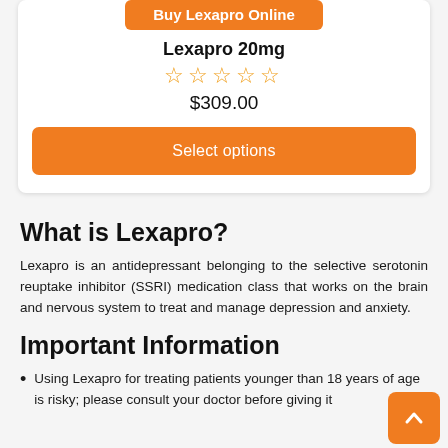Buy Lexapro Online
Lexapro 20mg
☆☆☆☆☆
$309.00
Select options
What is Lexapro?
Lexapro is an antidepressant belonging to the selective serotonin reuptake inhibitor (SSRI) medication class that works on the brain and nervous system to treat and manage depression and anxiety.
Important Information
Using Lexapro for treating patients younger than 18 years of age is risky; please consult your doctor before giving it